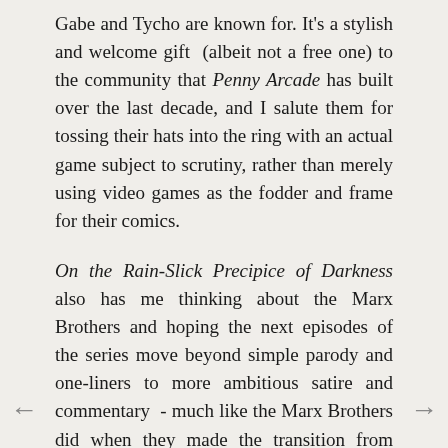Gabe and Tycho are known for. It's a stylish and welcome gift (albeit not a free one) to the community that Penny Arcade has built over the last decade, and I salute them for tossing their hats into the ring with an actual game subject to scrutiny, rather than merely using video games as the fodder and frame for their comics.
On the Rain-Slick Precipice of Darkness also has me thinking about the Marx Brothers and hoping the next episodes of the series move beyond simple parody and one-liners to more ambitious satire and commentary - much like the Marx Brothers did when they made the transition from vaudeville to the movies. Such a transition would, in my view, also align the game more directly with the comic strip that inspired it,